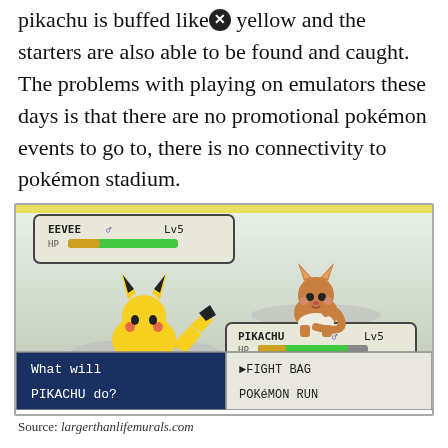pikachu is buffed like in yellow and the starters are also able to be found and caught. The problems with playing on emulators these days is that there are no promotional pokémon events to go to, there is no connectivity to pokémon stadium.
[Figure (screenshot): Pokémon game screenshot showing a battle between Pikachu and Eevee. Eevee is shown at Lv5 with full HP bar. Pikachu is shown at Lv5 with HP 20/20. The battle menu shows: What will PIKACHU do? with options FIGHT, BAG, POKéMON, RUN.]
Source: largerthanlifemurals.com
But i'd also like it if it has other improvements that other hacks have like